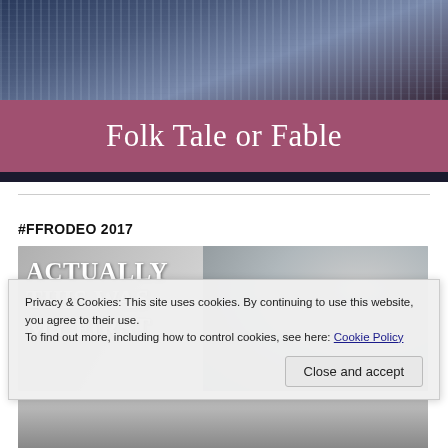[Figure (photo): Header photo showing water with reflections, dark blue and purple tones]
Folk Tale or Fable
#FFRODEO 2017
[Figure (photo): Book cover in grayscale with bold white text reading ACTUALLY THIS WAS MY FIRST]
Privacy & Cookies: This site uses cookies. By continuing to use this website, you agree to their use.
To find out more, including how to control cookies, see here: Cookie Policy
Close and accept